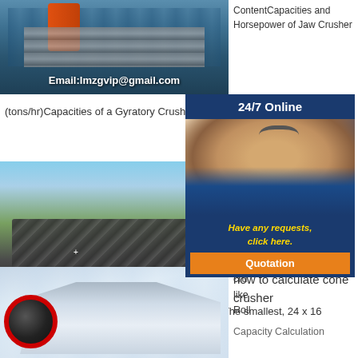[Figure (photo): Industrial jaw crusher equipment photo with email overlay: Email:lmzgvip@gmail.com]
ContentCapacities and Horsepower of Jaw Crusher (tons/hr)Capacities of a Gyratory Crushers (tons/hr)Capacities of Twin
[Figure (photo): Outdoor mining crushing plant machinery with email overlay: Email:lmzgvip@gmail.com and LMZG HEAVY INDUSTRY label]
[Figure (photo): 24/7 Online customer service representative with headset, blue background, Have any requests click here, Quotation button]
Crusher Capacity Calculation 2014 crusher like Roll Table above, to serve as the reduction crusher. The smallest, 24 x 16
[Figure (photo): Indoor manufacturing facility with jaw crusher machine, red wheel visible]
how to calculate cone crusher
Capacity Calculation